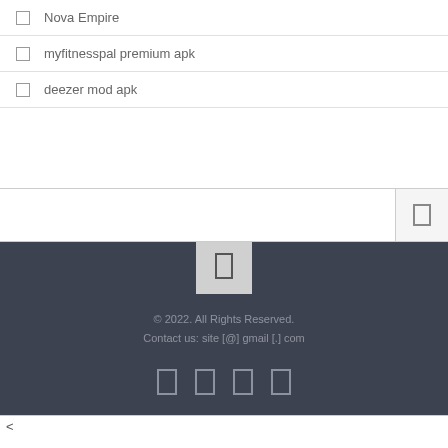Nova Empire
myfitnesspal premium apk
deezer mod apk
© 2022. All Rights Reserved.
Contact us: site [@] gmail [.] com